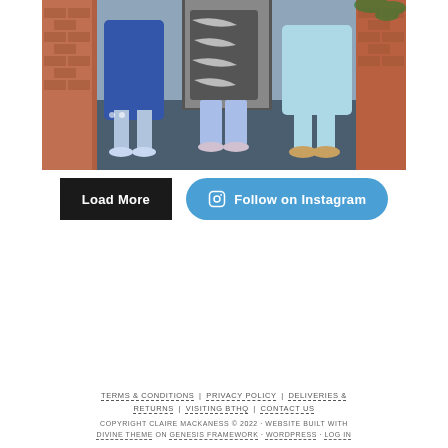[Figure (photo): Three women standing in front of a brick wall door, wearing blue patterned dresses and sandals]
Load More
Follow on Instagram
TERMS & CONDITIONS | PRIVACY POLICY | DELIVERIES & RETURNS | VISITING BTHQ | CONTACT US
COPYRIGHT CLAIRE MACKANESS © 2022 · WEBSITE BUILT WITH DIVINE THEME ON GENESIS FRAMEWORK · WORDPRESS · LOG IN